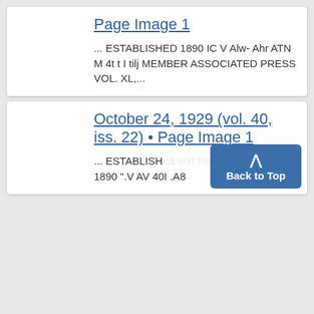Page Image 1
... ESTABLISHED 1890 IC V Alw- Ahr ATN M 4t t I tilj MEMBER ASSOCIATED PRESS VOL. XL,...
October 24, 1929 (vol. 40, iss. 22) • Page Image 1
... ESTABLISH... 1890 ".V AV 40I .A8